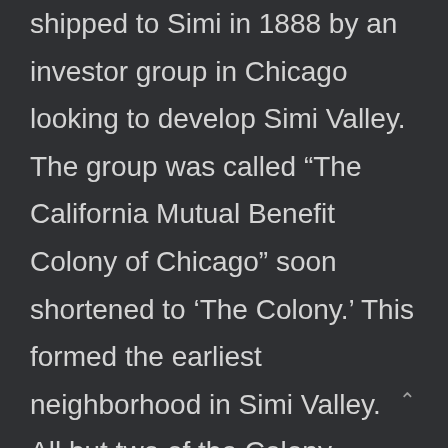shipped to Simi in 1888 by an investor group in Chicago looking to develop Simi Valley. The group was called “The California Mutual Benefit Colony of Chicago” soon shortened to ‘The Colony.’ This formed the earliest neighborhood in Simi Valley. All but two of the Colony Houses were located in the townsite laid out by the Colony